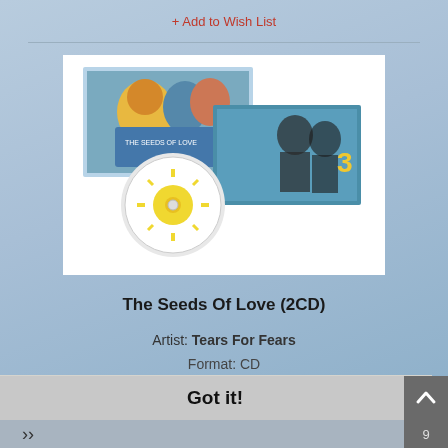+ Add to Wish List
[Figure (photo): Product image of The Seeds Of Love 2CD set showing album artwork, CD disc with sun design, and booklet with band photo]
The Seeds Of Love (2CD)
Artist: Tears For Fears
Format: CD
This website uses cookies to ensure you get the best experience on our website.
Learn more
Got it!